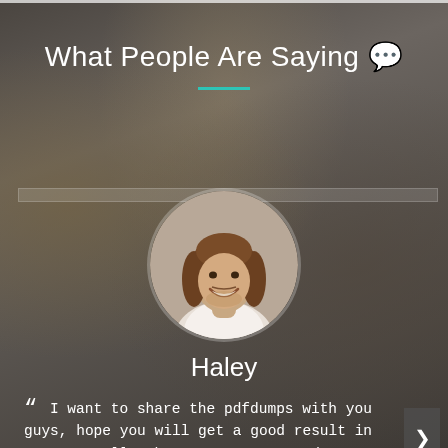What People Are Saying 🗣
[Figure (photo): Circular avatar photo of a smiling young man with long brown hair wearing a white shirt]
Haley
" I want to share the pdfdumps with you guys, hope you will get a good result in test as well. The 5V0-32.21 exam dumps